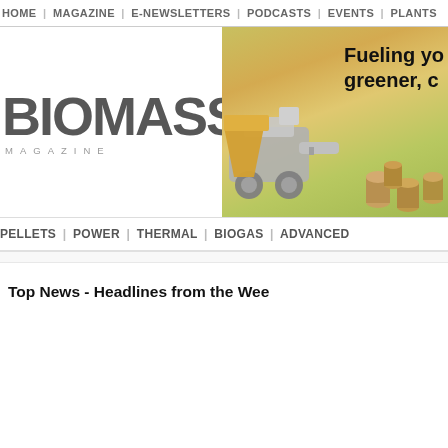HOME | MAGAZINE | E-NEWSLETTERS | PODCASTS | EVENTS | PLANTS
[Figure (logo): BIOMASS MAGAZINE logo in bold grey letters with 'MAGAZINE' subtitle in spaced caps]
[Figure (photo): Banner advertisement: 'Fueling yo greener, c' text with pellet mill machinery and wood pellets image]
PELLETS | POWER | THERMAL | BIOGAS | ADVANCED
Top News - Headlines from the Wee